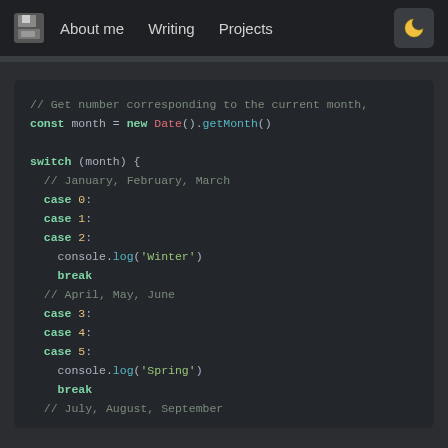About me   Writing   Projects
[Figure (screenshot): Code editor screenshot showing a JavaScript switch statement that determines the current season based on month number. Code uses syntax highlighting with dark theme.]